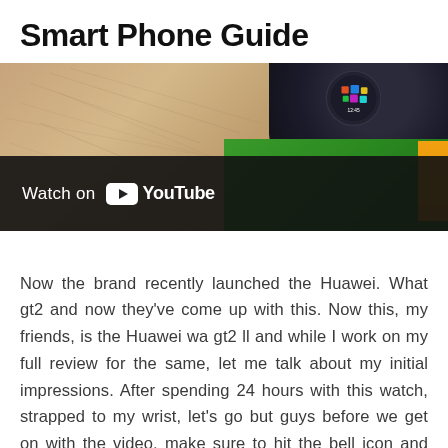Smart Phone Guide
[Figure (screenshot): YouTube video thumbnail showing a close-up of a wrist with a smartwatch (Huawei Watch GT2 II) against a green background, with a 'Watch on YouTube' overlay bar at the bottom.]
Now the brand recently launched the Huawei. What gt2 and now they've come up with this. Now this, my friends, is the Huawei wa gt2 ll and while I work on my full review for the same, let me talk about my initial impressions. After spending 24 hours with this watch, strapped to my wrist, let's go but guys before we get on with the video, make sure to hit the bell icon and subscribe to our YouTube channel. If you haven't